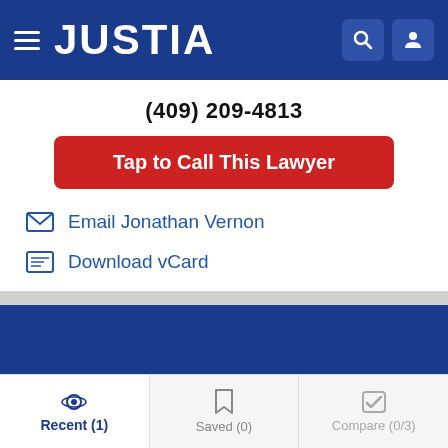JUSTIA
(409) 209-4813
Tap to Call This Lawyer
Email Jonathan Vernon
Download vCard
Recent (1) | Saved (0) | Compare (0/3)